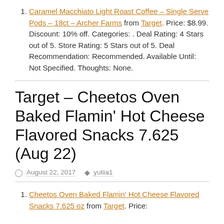Caramel Macchiato Light Roast Coffee – Single Serve Pods – 18ct – Archer Farms from Target. Price: $8.99. Discount: 10% off. Categories: . Deal Rating: 4 Stars out of 5. Store Rating: 5 Stars out of 5. Deal Recommendation: Recommended. Available Until: Not Specified. Thoughts: None.
Target – Cheetos Oven Baked Flamin' Hot Cheese Flavored Snacks 7.625 (Aug 22)
August 22, 2017   yuliia1
Cheetos Oven Baked Flamin' Hot Cheese Flavored Snacks 7.625 oz from Target. Price: